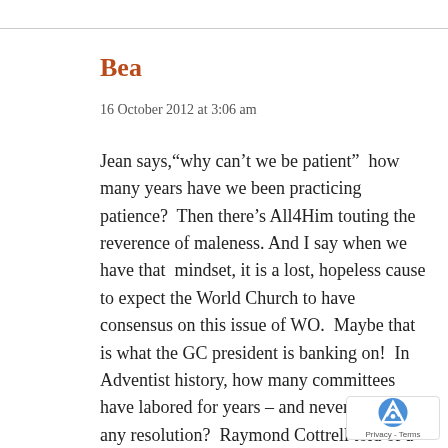Bea
16 October 2012 at 3:06 am
Jean says,“why can’t we be patient”  how many years have we been practicing patience?  Then there’s All4Him touting the reverence of maleness. And I say when we have that  mindset, it is a lost, hopeless cause to expect the World Church to have consensus on this issue of WO.  Maybe that is what the GC president is banking on!  In Adventist history, how many committees have labored for years – and never come to any resolution?  Raymond Cottrell told of a committee in the 1950’s that met for five years – the only way they could have a unanimous vote was for five of the 13 people to wait outside the